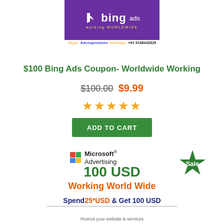[Figure (screenshot): Bing Ads 'working WORLDWIDE' banner on purple background with Bing logo]
Skype: Adcouponstore  Whatsapp: +91 9168442829
$100 Bing Ads Coupon- Worldwide Working
$100.00 $9.99
[Figure (other): Five orange star rating]
ADD TO CART
[Figure (logo): Microsoft Advertising logo]
100 USD
Working World Wide
Spend 25*USD & Get 100 USD
[Figure (other): Green Sale badge]